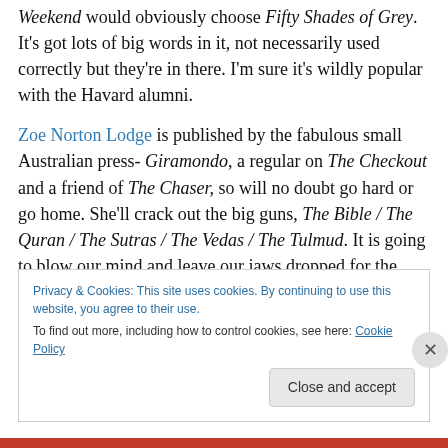Weekend would obviously choose Fifty Shades of Grey. It's got lots of big words in it, not necessarily used correctly but they're in there. I'm sure it's wildly popular with the Havard alumni.
Zoe Norton Lodge is published by the fabulous small Australian press- Giramondo, a regular on The Checkout and a friend of The Chaser, so will no doubt go hard or go home. She'll crack out the big guns, The Bible / The Quran / The Sutras / The Vedas / The Tulmud. It is going to blow our mind and leave our jaws dropped for the next six
Privacy & Cookies: This site uses cookies. By continuing to use this website, you agree to their use. To find out more, including how to control cookies, see here: Cookie Policy